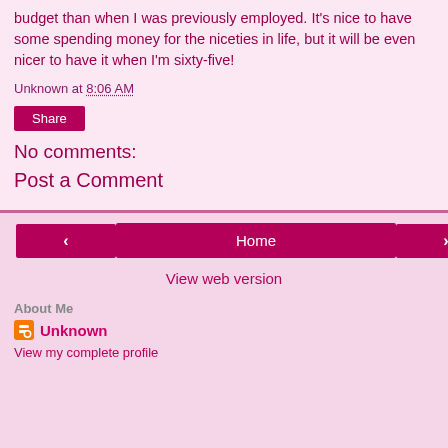budget than when I was previously employed. It's nice to have some spending money for the niceties in life, but it will be even nicer to have it when I'm sixty-five!
Unknown at 8:06 AM
Share
No comments:
Post a Comment
Home
View web version
About Me
Unknown
View my complete profile